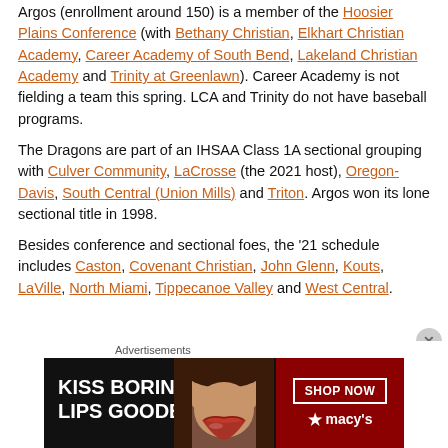Argos (enrollment around 150) is a member of the Hoosier Plains Conference (with Bethany Christian, Elkhart Christian Academy, Career Academy of South Bend, Lakeland Christian Academy and Trinity at Greenlawn). Career Academy is not fielding a team this spring. LCA and Trinity do not have baseball programs.
The Dragons are part of an IHSAA Class 1A sectional grouping with Culver Community, LaCrosse (the 2021 host), Oregon-Davis, South Central (Union Mills) and Triton. Argos won its lone sectional title in 1998.
Besides conference and sectional foes, the '21 schedule includes Caston, Covenant Christian, John Glenn, Kouts, LaVille, North Miami, Tippecanoe Valley and West Central.
[Figure (infographic): Advertisement banner: 'KISS BORING LIPS GOODBYE' with a photo of lips and a 'SHOP NOW' button with Macy's logo on dark red background]